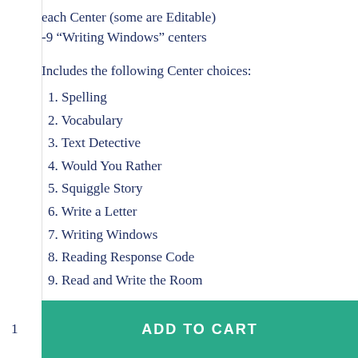each Center (some are Editable)
-9 “Writing Windows” centers
Includes the following Center choices:
1. Spelling
2. Vocabulary
3. Text Detective
4. Would You Rather
5. Squiggle Story
6. Write a Letter
7. Writing Windows
8. Reading Response Code
9. Read and Write the Room
1  ADD TO CART